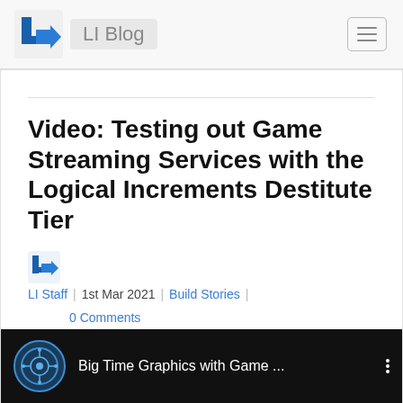LI Blog
Video: Testing out Game Streaming Services with the Logical Increments Destitute Tier
LI Staff | 1st Mar 2021 | Build Stories | 0 Comments
[Figure (screenshot): Video thumbnail showing a dark background with circular logo and text 'Big Time Graphics with Game ...' with three-dot menu icon]